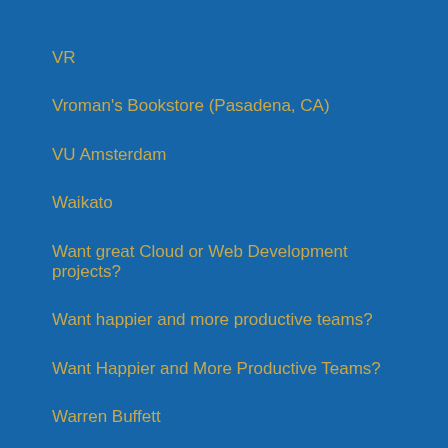VR
Vroman's Bookstore (Pasadena, CA)
VU Amsterdam
Waikato
Want great Cloud or Web Development projects?
Want happier and more productive teams?
Want Happier and More Productive Teams?
Warren Buffett
Warwick's